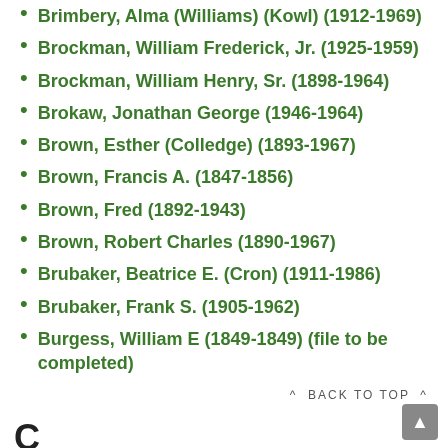Brimbery, Alma (Williams) (Kowl) (1912-1969)
Brockman, William Frederick, Jr. (1925-1959)
Brockman, William Henry, Sr. (1898-1964)
Brokaw, Jonathan George (1946-1964)
Brown, Esther (Colledge) (1893-1967)
Brown, Francis A. (1847-1856)
Brown, Fred (1892-1943)
Brown, Robert Charles (1890-1967)
Brubaker, Beatrice E. (Cron) (1911-1986)
Brubaker, Frank S. (1905-1962)
Burgess, William E (1849-1849) (file to be completed)
^ BACK TO TOP ^
C
Carroll, Robert A (1816-1854)
Case, George W. (1793-1853)